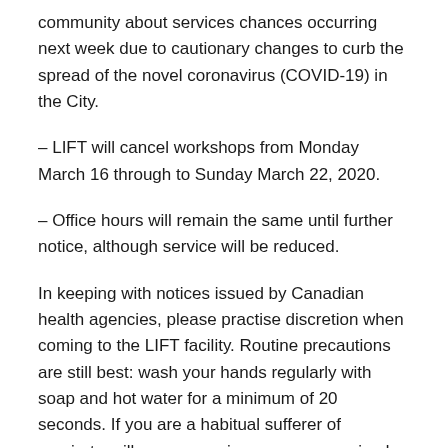community about services chances occurring next week due to cautionary changes to curb the spread of the novel coronavirus (COVID-19) in the City.
– LIFT will cancel workshops from Monday March 16 through to Sunday March 22, 2020.
– Office hours will remain the same until further notice, although service will be reduced.
In keeping with notices issued by Canadian health agencies, please practise discretion when coming to the LIFT facility. Routine precautions are still best: wash your hands regularly with soap and hot water for a minimum of 20 seconds. If you are a habitual sufferer of respiratory illnesses, are immunocompromised, or otherwise at-risk, please think carefully about your attendance at public gatherings.
Toronto Public Health (TPH) has...